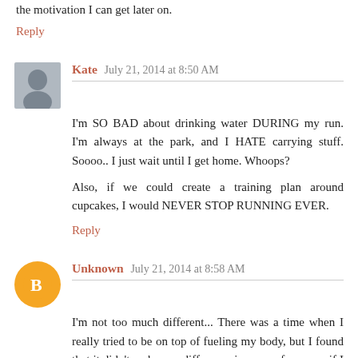the motivation I can get later on.
Reply
Kate  July 21, 2014 at 8:50 AM
I'm SO BAD about drinking water DURING my run. I'm always at the park, and I HATE carrying stuff. Soooo.. I just wait until I get home. Whoops?
Also, if we could create a training plan around cupcakes, I would NEVER STOP RUNNING EVER.
Reply
Unknown  July 21, 2014 at 8:58 AM
I'm not too much different... There was a time when I really tried to be on top of fueling my body, but I found that it didn't make any difference in my performance if I had Clif ShotBloks or pieces of a Larabar at miles 5, 7, etc. Now... anything goes! (Although last night's Mexican made for a rough run this morning!)